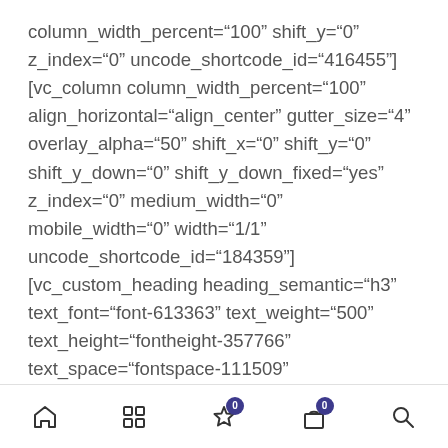column_width_percent="100" shift_y="0" z_index="0" uncode_shortcode_id="416455"][vc_column column_width_percent="100" align_horizontal="align_center" gutter_size="4" overlay_alpha="50" shift_x="0" shift_y="0" shift_y_down="0" shift_y_down_fixed="yes" z_index="0" medium_width="0" mobile_width="0" width="1/1" uncode_shortcode_id="184359"][vc_custom_heading heading_semantic="h3" text_font="font-613363" text_weight="500" text_height="fontheight-357766" text_space="fontspace-111509" uncode_shortcode_id="110371"]New stuff[/vc_custom_heading][uncode_index el_id="index-3255486527" index_type="carousel"
home | grid | star (0) | bag (0) | search